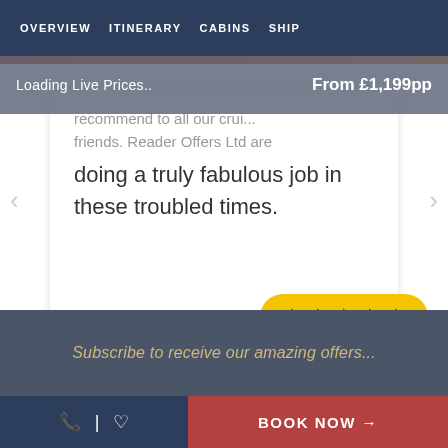OVERVIEW  ITINERARY  CABINS  SHIP
Loading Live Prices..
From £1,199pp
recommend to all our crui... friends. Reader Offers Ltd are doing a truly fabulous job in these troubled times.
[Figure (infographic): Five yellow star rating badge on a yellow rounded pill background]
Subscribe to receive our amazing offers...
BOOK NOW →